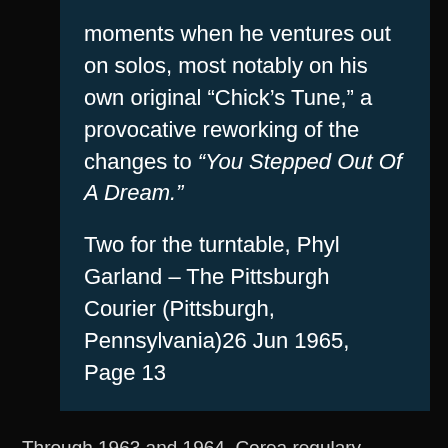moments when he ventures out on solos, most notably on his own original “Chick’s Tune,” a provocative reworking of the changes to “You Stepped Out Of A Dream.”
Two for the turntable, Phyl Garland – The Pittsburgh Courier (Pittsburgh, Pennsylvania)26 Jun 1965, Page 13
Through 1963 and 1964, Corea regulary appeared as a sideman on recordings and live gigs. Including Sonny Stit and Hubert Laws debut album, “The Laws of Jazz.” On that album, he was again credited by real name, Armando Corea.